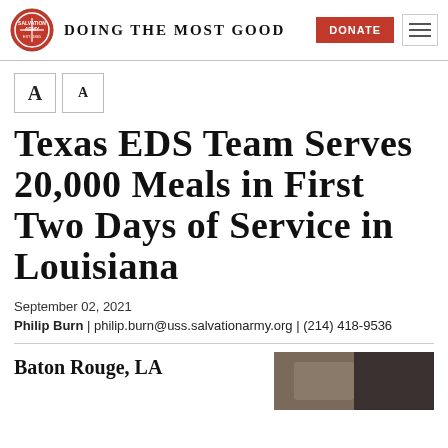Doing The Most Good | DONATE
Texas EDS Team Serves 20,000 Meals in First Two Days of Service in Louisiana
September 02, 2021
Philip Burn | philip.burn@uss.salvationarmy.org | (214) 418-9536
Baton Rouge, LA
[Figure (photo): Partial photo of food/meal service, dark background visible at right edge of page]